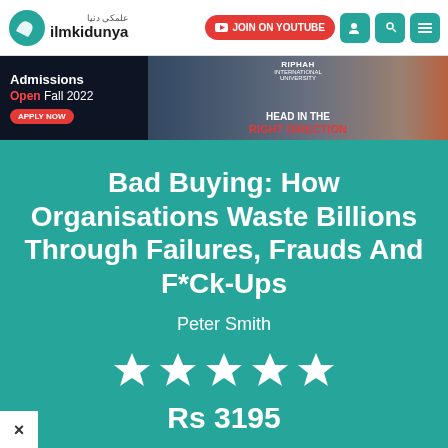ilmkidunya — JOIN ON YOUTUBE
[Figure (screenshot): Riphah International University admissions advertisement banner — Admissions Open Fall 2022, Apply Now, Head In The Right Direction]
Bad Buying: How Organisations Waste Billions Through Failures, Frauds And F*Ck-Ups
Peter Smith
[Figure (other): 5 white star rating icons]
Rs 3195